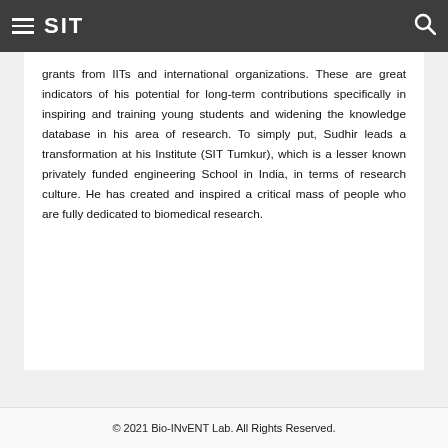SIT
grants from IITs and international organizations. These are great indicators of his potential for long-term contributions specifically in inspiring and training young students and widening the knowledge database in his area of research. To simply put, Sudhir leads a transformation at his Institute (SIT Tumkur), which is a lesser known privately funded engineering School in India, in terms of research culture. He has created and inspired a critical mass of people who are fully dedicated to biomedical research.
© 2021 Bio-INvENT Lab. All Rights Reserved.